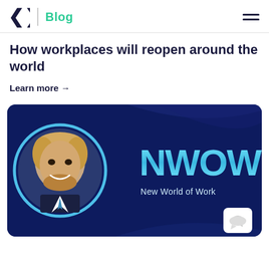Blog
How workplaces will reopen around the world
Learn more →
[Figure (illustration): Dark navy blue card featuring a circular portrait photo of a smiling blond man with a beard, wearing a suit, framed by a cyan ring. To the right, the NWOW logo in large cyan letters and the text 'New World of Work' below it. A white chat bubble icon appears in the bottom right corner.]